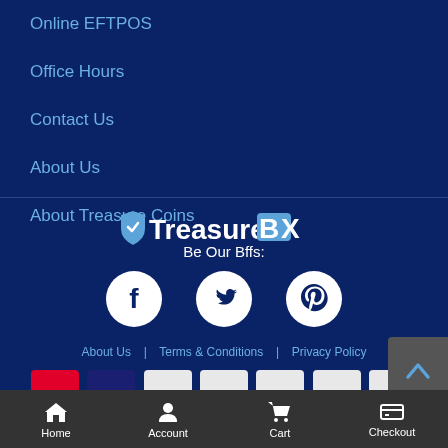Online EFTPOS
Office Hours
Contact Us
About Us
About Treasure Coins
[Figure (logo): TreasureBox logo with shield icon]
Be Our Bffs:
[Figure (infographic): Social media icons: Facebook, Twitter, Pinterest in white circles]
About Us | Terms & Conditions | Privacy Policy
[Figure (infographic): Payment method icons: Mastercard, Visa, Bank, and others]
Home   Account   Cart   Checkout